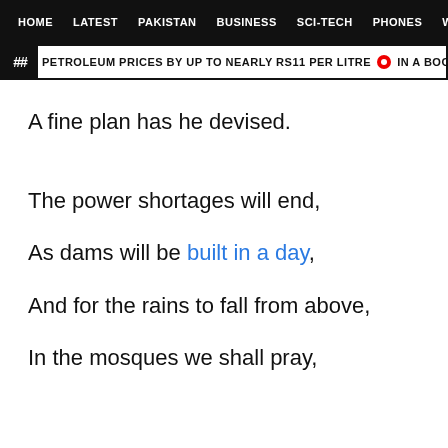HOME | LATEST | PAKISTAN | BUSINESS | SCI-TECH | PHONES | W
PETROLEUM PRICES BY UP TO NEARLY RS11 PER LITRE  •  IN A BOOST TO DWINDLI
A fine plan has he devised.
The power shortages will end,
As dams will be built in a day,
And for the rains to fall from above,
In the mosques we shall pray,